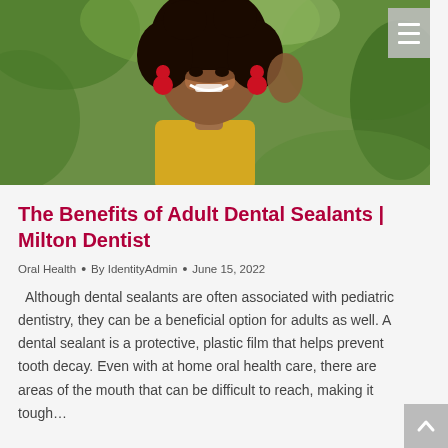[Figure (photo): Smiling woman with curly hair wearing red earrings and a yellow top, photographed outdoors against a green background]
The Benefits of Adult Dental Sealants | Milton Dentist
Oral Health • By IdentityAdmin • June 15, 2022
Although dental sealants are often associated with pediatric dentistry, they can be a beneficial option for adults as well. A dental sealant is a protective, plastic film that helps prevent tooth decay. Even with at home oral health care, there are areas of the mouth that can be difficult to reach, making it tough…